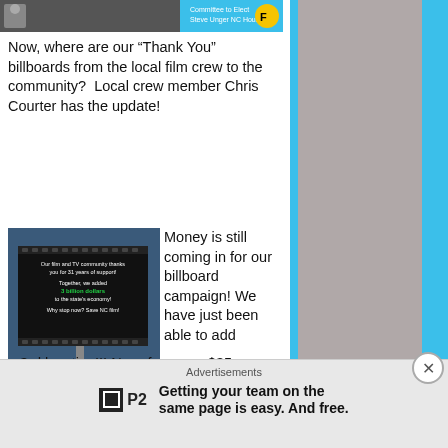[Figure (photo): Top banner ad showing a person in a suit with 'Committee to Elect Steve Unger NC House' text on a blue background with a film reel logo]
Now, where are our “Thank You” billboards from the local film crew to the community?  Local crew member Chris Courter has the update!
[Figure (photo): Billboard at night reading: 'Our film and TV community thanks you for 31 years of support! Together, we added 3 billion dollars to the state's economy! Why stop now? Save NC film!']
Money is still coming in for our billboard campaign! We have just been able to add a 3rd location!!! Now, for every $35 (special daily rate we just secured) we receive, the third billboard will be up and running for another day! Help keep the message going!!! This is on going, so please feel free to donate at any time!
DONATE NOW!
Advertisements
[Figure (logo): P2 logo — black square with inner square outline beside 'P2' text]
Getting your team on the same page is easy. And free.